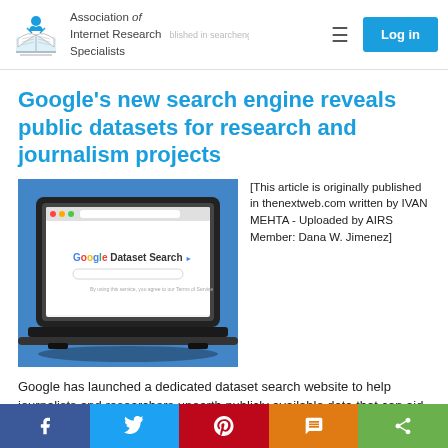Association of Internet Research Specialists
Google’s new search engine reveals public datasets for research and journalism projects
[Figure (screenshot): Screenshot of a laptop displaying Google Dataset Search website on a blue background]
[This article is originally published in thenextweb.com written by IVAN MEHTA - Uploaded by AIRS Member: Dana W. Jimenez]
Google has launched a dedicated dataset search website to help journalists and researchers unearth publicly available data that can aid in their projects. Traditionally, pages...
Facebook | Twitter | Pinterest | LinkedIn | Share